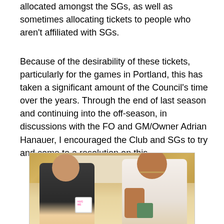allocated amongst the SGs, as well as sometimes allocating tickets to people who aren't affiliated with SGs.
Because of the desirability of these tickets, particularly for the games in Portland, this has taken a significant amount of the Council's time over the years. Through the end of last season and continuing into the off-season, in discussions with the FO and GM/Owner Adrian Hanauer, I encouraged the Club and SGs to try and come to a resolution on this.
[Figure (photo): Two men standing in a kitchen setting. The man on the left is wearing a dark jacket and holding a white mug with pink text. The man on the right is wearing a white sleeveless shirt with visible tattoos and holding a green mug.]